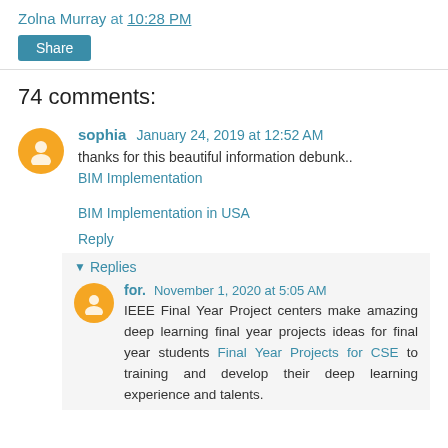Zolna Murray at 10:28 PM
Share
74 comments:
sophia  January 24, 2019 at 12:52 AM
thanks for this beautiful information debunk..
BIM Implementation
BIM Implementation in USA
Reply
▾ Replies
for.  November 1, 2020 at 5:05 AM
IEEE Final Year Project centers make amazing deep learning final year projects ideas for final year students Final Year Projects for CSE to training and develop their deep learning experience and talents.